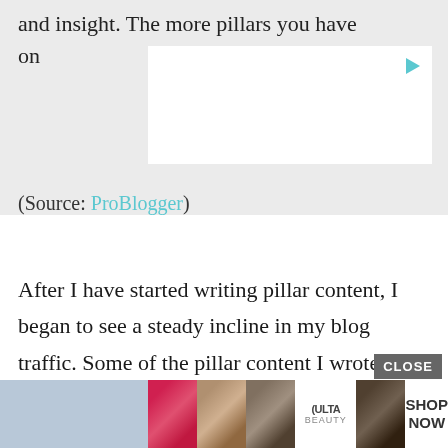and insight. The more pillars you have on
[Figure (screenshot): Embedded video player with play button, white background on gray bar]
(Source: ProBlogger)
After I have started writing pillar content, I began to see a steady incline in my blog traffic. Some of the pillar content I wrote years ago still produce thousands of monthly page views today.
[Figure (photo): ULTA beauty advertisement banner with makeup photos, CLOSE button, SHOP NOW text]